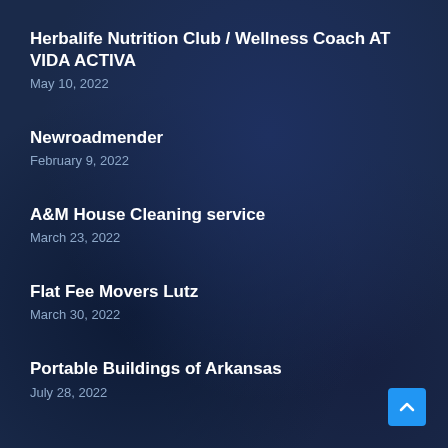Herbalife Nutrition Club / Wellness Coach AT VIDA ACTIVA
May 10, 2022
Newroadmender
February 9, 2022
A&M House Cleaning service
March 23, 2022
Flat Fee Movers Lutz
March 30, 2022
Portable Buildings of Arkansas
July 28, 2022